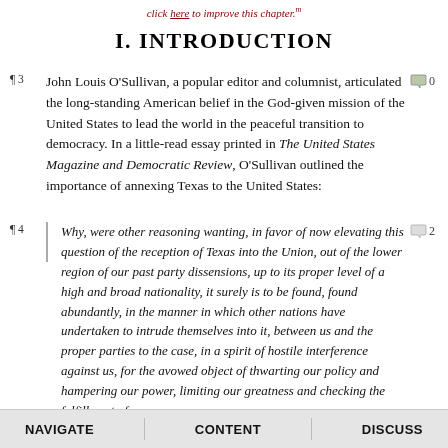click here to improve this chapter.
I. INTRODUCTION
¶3  John Louis O'Sullivan, a popular editor and columnist, articulated the long-standing American belief in the God-given mission of the United States to lead the world in the peaceful transition to democracy. In a little-read essay printed in The United States Magazine and Democratic Review, O'Sullivan outlined the importance of annexing Texas to the United States:
¶4  Why, were other reasoning wanting, in favor of now elevating this question of the reception of Texas into the Union, out of the lower region of our past party dissensions, up to its proper level of a high and broad nationality, it surely is to be found, found abundantly, in the manner in which other nations have undertaken to intrude themselves into it, between us and the proper parties to the case, in a spirit of hostile interference against us, for the avowed object of thwarting our policy and hampering our power, limiting our greatness and checking the fulfillment of our
NAVIGATE    CONTENT    DISCUSS